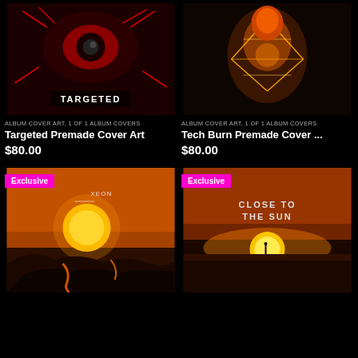[Figure (illustration): Album cover art titled TARGETED — dark red eye/creature imagery on black background with red splatter/horror style]
ALBUM COVER ART, 1 OF 1 ALBUM COVERS
Targeted Premade Cover Art
$80.00
[Figure (illustration): Album cover art titled Tech Burn — glowing orange energy figure with lightning on dark background]
ALBUM COVER ART, 1 OF 1 ALBUM COVERS
Tech Burn Premade Cover ...
$80.00
[Figure (illustration): Album cover art with Exclusive badge — orange/yellow sun over volcanic landscape, artist name XEON visible]
[Figure (illustration): Album cover art with Exclusive badge — CLOSE TO THE SUN title, person silhouette against orange sunset sky]